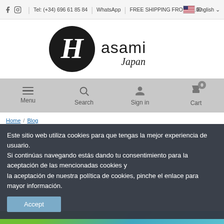f  [instagram icon]  |  Tel: (+34) 696 61 85 84  |  WhatsApp  |  FREE SHIPPING FROM € 100   [flag] English
[Figure (logo): Hasami Japan logo: black circle with stylized H lettermark and 'asami Japan' text beside it]
Menu  Search  Sign In  Cart (0)
Home / Blog
Este sitio web utiliza cookies para que tengas la mejor experiencia de usuario.
Si continúas navegando estás dando tu consentimiento para la aceptación de las mencionadas cookies y
la aceptación de nuestra política de cookies, pinche el enlace para mayor información.
Accept